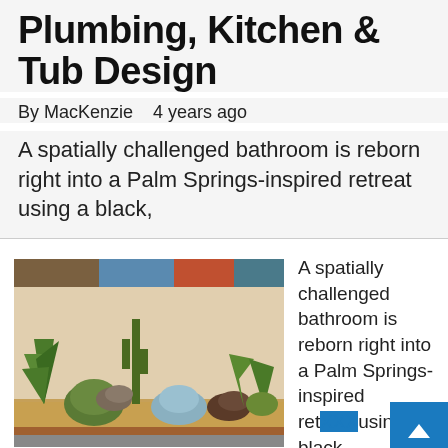Plumbing, Kitchen & Tub Design
By MacKenzie    4 years ago
A spatially challenged bathroom is reborn right into a Palm Springs-inspired retreat using a black,
[Figure (photo): Desert garden with succulents, cacti, agave, rocks, and gravel ground cover]
A spatially challenged bathroom is reborn right into a Palm Springs-inspired retreat using a black,